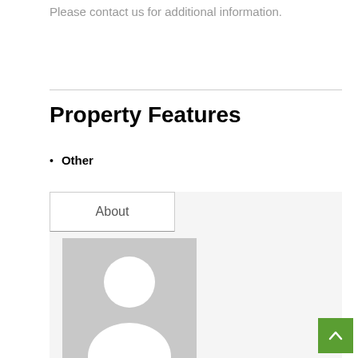Please contact us for additional information.
Property Features
Other
About
[Figure (illustration): Default user profile placeholder image: grey background with white silhouette of a person (circle head and rounded body/shoulders)]
Tropical Pathways